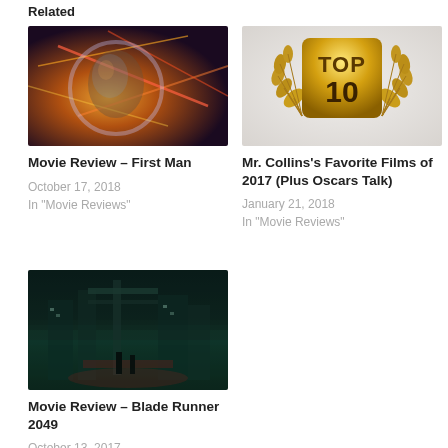Related
[Figure (photo): Abstract sci-fi image of a helmeted astronaut face with colorful light streaks]
Movie Review – First Man
October 17, 2018
In "Movie Reviews"
[Figure (photo): Golden TOP 10 trophy with laurel wreath on light background]
Mr. Collins's Favorite Films of 2017 (Plus Oscars Talk)
January 21, 2018
In "Movie Reviews"
[Figure (photo): Dark cinematic still from Blade Runner 2049 showing industrial silhouettes in fog with green and teal lighting]
Movie Review – Blade Runner 2049
October 13, 2017
In "Movie Reviews"